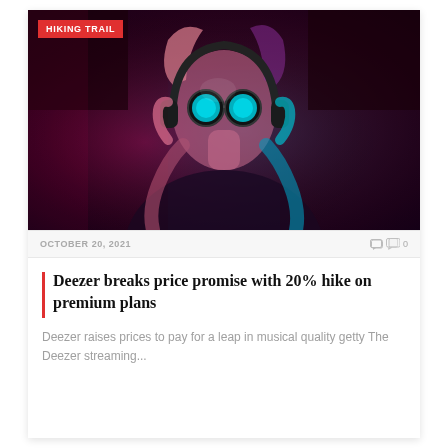[Figure (photo): Woman with headphones and round reflective sunglasses under neon pink and blue lighting against dark background]
HIKING TRAIL
OCTOBER 20, 2021
0
Deezer breaks price promise with 20% hike on premium plans
Deezer raises prices to pay for a leap in musical quality getty The Deezer streaming...